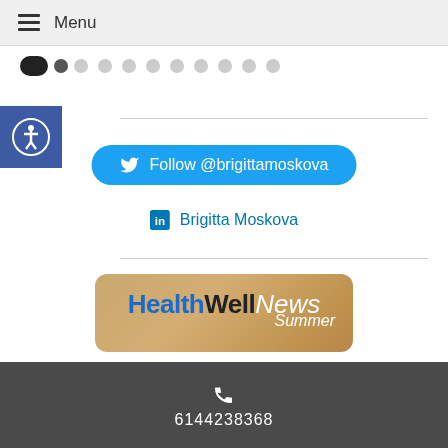Menu
[Figure (screenshot): Navigation dots row showing carousel position indicator — one active dark pill shape followed by multiple grey dots]
[Figure (logo): Blue square accessibility icon with person-in-circle symbol]
[Figure (other): Twitter follow button — cyan rounded rectangle with bird icon and text: Follow @brigittamoskova]
[Figure (other): LinkedIn row — LinkedIn 'in' icon with text: Brigitta Moskova]
[Figure (logo): HealthWellNews Summer banner — tan/sandy background with colored text and starfish decoration]
Latest Articles:
• Cultivating Defensive Qi to Fight Summer Allergies •
• 3 Tips for Healthy Summer Fun •
• A Taste of Summer •
6144238368